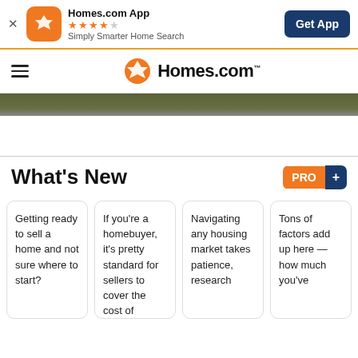[Figure (screenshot): Homes.com app banner with orange icon, star rating, tagline, and Get App button]
[Figure (logo): Homes.com navigation bar with hamburger menu and logo]
[Figure (photo): Partial hero image strip showing outdoor foliage]
What's New
Getting ready to sell a home and not sure where to start?
If you're a homebuyer, it's pretty standard for sellers to cover the cost of
Navigating any housing market takes patience, research
Tons of factors add up here — how much you've